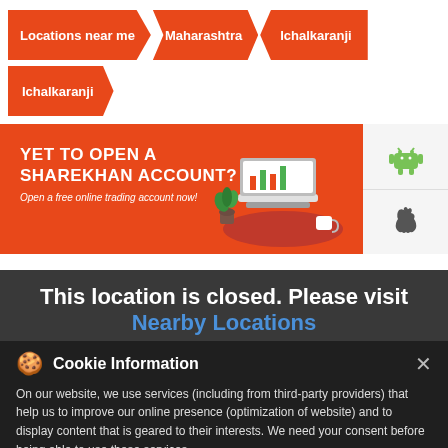Locations near me > Maharashtra > Ichalkaranji > Ichalkaranji
[Figure (infographic): Sharekhan promotional banner with orange background showing 'YET TO OPEN A SHAREKHAN ACCOUNT? Open a free online trading account now!' with laptop illustration and Android/Apple app icons]
This location is closed. Please visit Nearby Locations
Cookie Information: On our website, we use services (including from third-party providers) that help us to improve our online presence (optimization of website) and to display content that is geared to their interests. We need your consent before being able to use these services.
355, Nagwade Mala, Palkhi Lingale
Permanently Closed
Book Uber to Sharekhan   T&C Apply